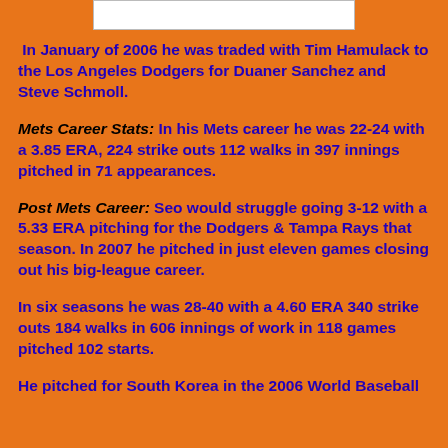[Figure (other): Partial image at top of page]
In January of 2006 he was traded with Tim Hamulack to the Los Angeles Dodgers for Duaner Sanchez and Steve Schmoll.
Mets Career Stats: In his Mets career he was 22-24 with a 3.85 ERA, 224 strike outs 112 walks in 397 innings pitched in 71 appearances.
Post Mets Career: Seo would struggle going 3-12 with a 5.33 ERA pitching for the Dodgers & Tampa Rays that season. In 2007 he pitched in just eleven games closing out his big-league career.
In six seasons he was 28-40 with a 4.60 ERA 340 strike outs 184 walks in 606 innings of work in 118 games pitched 102 starts.
He pitched for South Korea in the 2006 World Baseball